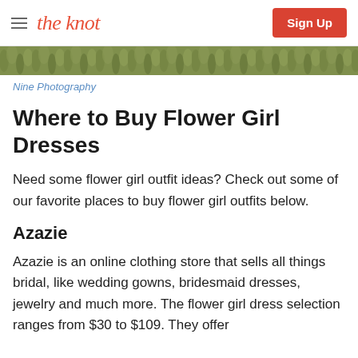the knot | Sign Up
[Figure (photo): Partial photo strip showing green foliage/grass background]
Nine Photography
Where to Buy Flower Girl Dresses
Need some flower girl outfit ideas? Check out some of our favorite places to buy flower girl outfits below.
Azazie
Azazie is an online clothing store that sells all things bridal, like wedding gowns, bridesmaid dresses, jewelry and much more. The flower girl dress selection ranges from $30 to $109. They offer